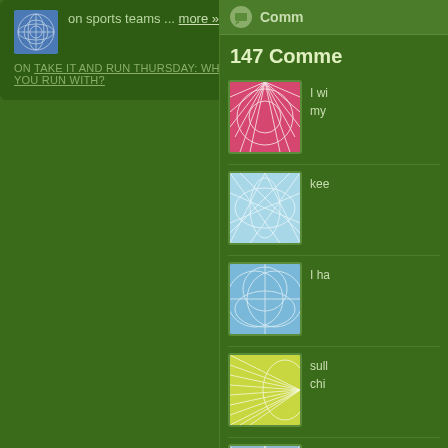on sports teams ... more »
ON TAKE IT AND RUN THURSDAY: WHO WOULD YOU RUN WITH?
Comm
147 Comme
I wi my
kee
I ha
sull chi
Wh Is a